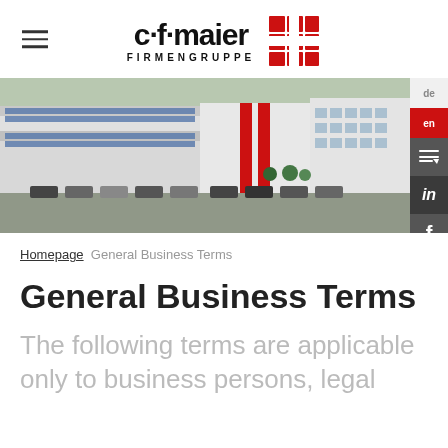[Figure (logo): c·f·maier FIRMENGRUPPE logo with red grid icon]
[Figure (photo): Aerial view of c.f.maier industrial facility with solar panels on roof and parking lot]
Homepage  General Business Terms
General Business Terms
The following terms are applicable only to business persons, legal